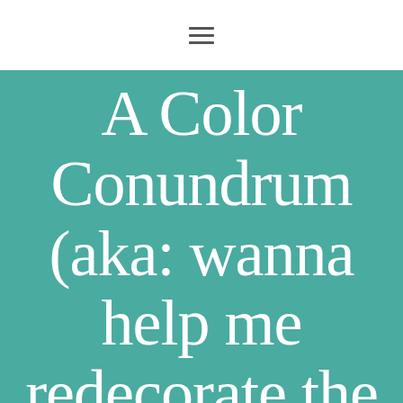≡
A Color Conundrum (aka: wanna help me redecorate the